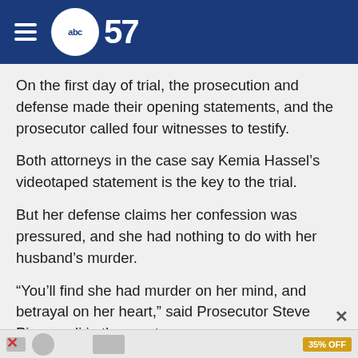[Figure (logo): ABC 57 news logo with hamburger menu on dark blue header background]
On the first day of trial, the prosecution and defense made their opening statements, and the prosecutor called four witnesses to testify.
Both attorneys in the case say Kemia Hassel’s videotaped statement is the key to the trial.
But her defense claims her confession was pressured, and she had nothing to do with her husband’s murder.
“You’ll find she had murder on her mind, and betrayal on her heart,” said Prosecutor Steve Pierangeli in the courtroom.
Pierangeli claims that soldier Kemia Hassel was not happy with her marriage and plotted to kill her